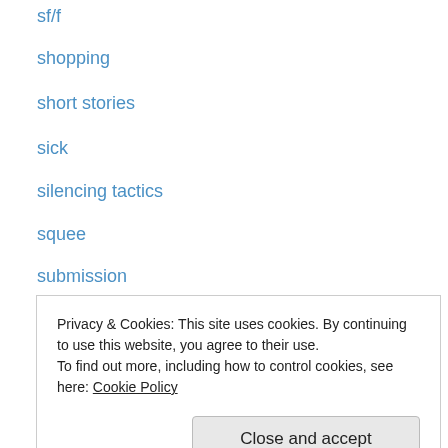sf/f
shopping
short stories
sick
silencing tactics
squee
submission
tech
teh funny
television
terminology
the 90s
Theory & Criticism
Privacy & Cookies: This site uses cookies. By continuing to use this website, you agree to their use. To find out more, including how to control cookies, see here: Cookie Policy
william sanders is a bigot